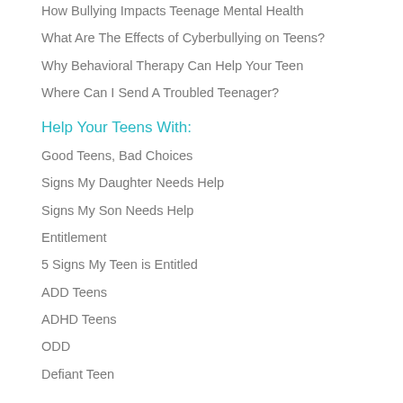How Bullying Impacts Teenage Mental Health
What Are The Effects of Cyberbullying on Teens?
Why Behavioral Therapy Can Help Your Teen
Where Can I Send A Troubled Teenager?
Help Your Teens With:
Good Teens, Bad Choices
Signs My Daughter Needs Help
Signs My Son Needs Help
Entitlement
5 Signs My Teen is Entitled
ADD Teens
ADHD Teens
ODD
Defiant Teen